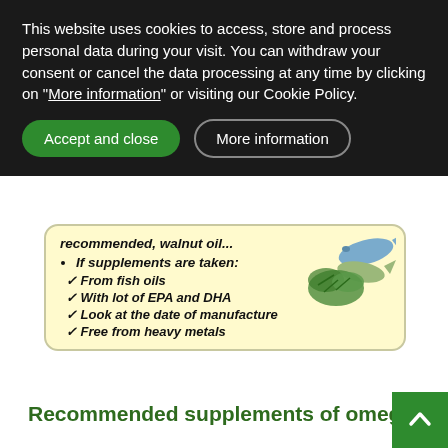This website uses cookies to access, store and process personal data during your visit. You can withdraw your consent or cancel the data processing at any time by clicking on "More information" or visiting our Cookie Policy.
Accept and close | More information
[Figure (infographic): Yellow rounded box with fish oil supplement recommendations: 'recommended, walnut oil...' bullet 'If supplements are taken:' with checkmarks: From fish oils, With lot of EPA and DHA, Look at the date of manufacture, Free from heavy metals. A photo of fish and green herbs in the top right corner.]
Recommended supplements of omega 3
[Figure (photo): Light gray/green placeholder area for product images at the bottom of the page.]